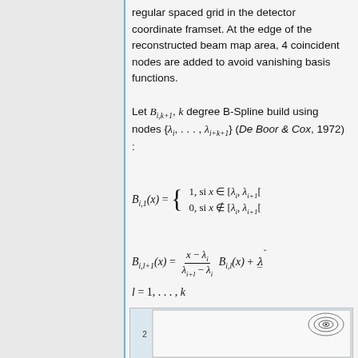regular spaced grid in the detector coordinate framset. At the edge of the reconstructed beam map area, 4 coincident nodes are added to avoid vanishing basis functions.
Let B_{i,k+1}, k degree B-Spline build using nodes {λ_i, ..., λ_{i+k+1}} (De Boor & Cox, 1972) :
[Figure (other): Partial view of a figure showing a contour plot with concentric oval lines in the upper right, and an axis label '2' on the left side.]